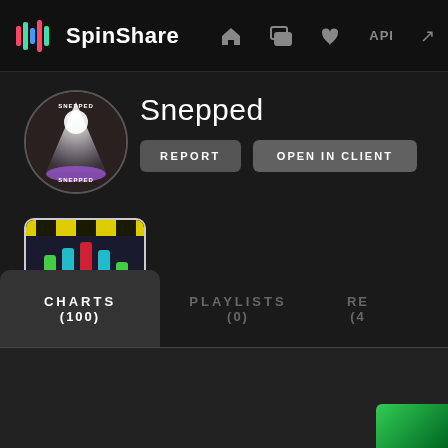SpinShare — navigation bar with home, messages, likes, API icons
[Figure (screenshot): SpinShare app navigation bar with colorful equalizer logo and nav icons]
Snepped
REPORT   OPEN IN CLIENT
[Figure (illustration): SpinShare app icon thumbnail with yellow hazard stripe border and colorful audio bars on dark background]
CHARTS (100)
PLAYLISTS (0)
RE (4)